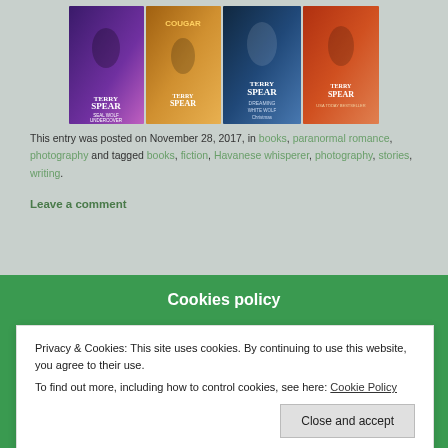[Figure (illustration): Four romance novel book covers by Terry Spear displayed side by side: 'SEAL Wolf Undercover', a cougar/paranormal romance title, 'Dreaming of a White Wolf Christmas', and another Terry Spear title.]
This entry was posted on November 28, 2017, in books, paranormal romance, photography and tagged books, fiction, Havanese whisperer, photography, stories, writing.
Leave a comment
Cookies policy
Privacy & Cookies: This site uses cookies. By continuing to use this website, you agree to their use.
To find out more, including how to control cookies, see here: Cookie Policy
Close and accept